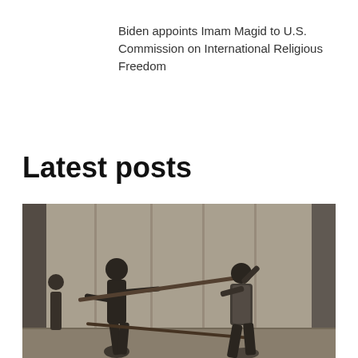Biden appoints Imam Magid to U.S. Commission on International Religious Freedom
Latest posts
[Figure (photo): Grayscale video still showing two silhouetted figures fighting with long sticks/poles in front of a building with vertical panels. The figures are backlit creating dark silhouettes against a lighter background.]